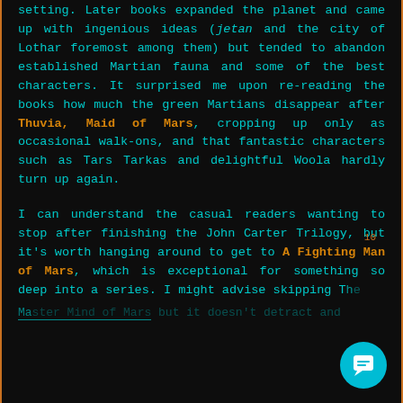setting. Later books expanded the planet and came up with ingenious ideas (jetan and the city of Lothar foremost among them) but tended to abandon established Martian fauna and some of the best characters. It surprised me upon re-reading the books how much the green Martians disappear after Thuvia, Maid of Mars, cropping up only as occasional walk-ons, and that fantastic characters such as Tars Tarkas and delightful Woola hardly turn up again.
I can understand the casual readers wanting to stop after finishing the John Carter Trilogy, but it's worth hanging around to get to A Fighting Man of Mars, which is exceptional for something so deep into a series. I might advise skipping The Master Mind of Mars but it doesn't detract...